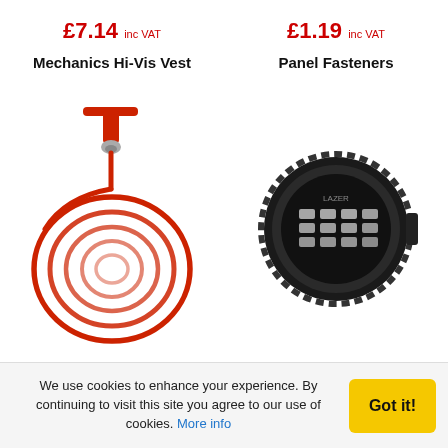£7.14 inc VAT
£1.19 inc VAT
Mechanics Hi-Vis Vest
Panel Fasteners
[Figure (photo): Red cable/wire with T-bar handle, coiled, used as a drain snake or similar tool]
[Figure (photo): Round black LED driving light/spotlight, Lazer brand, with multiple LED elements visible]
We use cookies to enhance your experience. By continuing to visit this site you agree to our use of cookies. More info